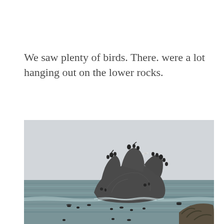We saw plenty of birds. There. were a lot hanging out on the lower rocks.
[Figure (photo): A rocky island outcrop in the ocean surrounded by choppy grey-green water under an overcast sky, with numerous birds perched on the rocks and a few in the water nearby. A smaller rocky formation is visible in the lower right corner.]